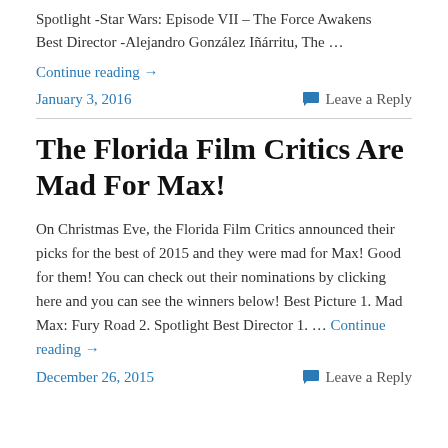Spotlight -Star Wars: Episode VII – The Force Awakens Best Director -Alejandro González Iñárritu, The …
Continue reading →
January 3, 2016
Leave a Reply
The Florida Film Critics Are Mad For Max!
On Christmas Eve, the Florida Film Critics announced their picks for the best of 2015 and they were mad for Max!  Good for them!  You can check out their nominations by clicking here and you can see the winners below! Best Picture 1. Mad Max: Fury Road 2. Spotlight Best Director 1. … Continue reading →
December 26, 2015
Leave a Reply